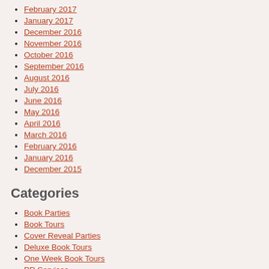February 2017
January 2017
December 2016
November 2016
October 2016
September 2016
August 2016
July 2016
June 2016
May 2016
April 2016
March 2016
February 2016
January 2016
December 2015
Categories
Book Parties
Book Tours
Cover Reveal Parties
Deluxe Book Tours
One Week Book Tours
PR Services